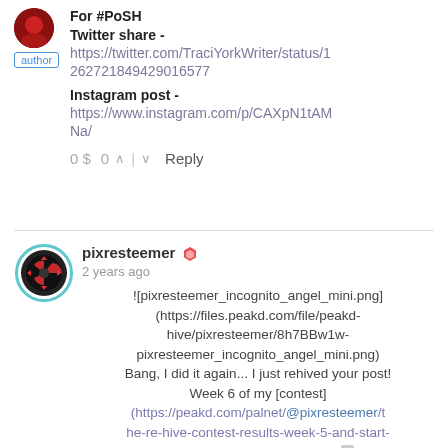For #PoSH
Twitter share - https://twitter.com/TraciYorkWriter/status/1262721849429016577
Instagram post - https://www.instagram.com/p/CAXpN1tAMNa/
0 $  0  ^  v  Reply
pixresteemer  2 years ago
![pixresteemer_incognito_angel_mini.png](https://files.peakd.com/file/peakd-hive/pixresteemer/8h7BBw1w-pixresteemer_incognito_angel_mini.png) Bang, I did it again... I just rehived your post! Week 6 of my [contest](https://peakd.com/palnet/@pixresteemer/the-re-hive-contest-results-week-5-and-start-week-6) just started...you can now click the